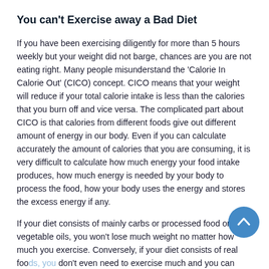You can't Exercise away a Bad Diet
If you have been exercising diligently for more than 5 hours weekly but your weight did not barge, chances are you are not eating right. Many people misunderstand the 'Calorie In Calorie Out' (CICO) concept. CICO means that your weight will reduce if your total calorie intake is less than the calories that you burn off and vice versa. The complicated part about CICO is that calories from different foods give out different amount of energy in our body. Even if you can calculate accurately the amount of calories that you are consuming, it is very difficult to calculate how much energy your food intake produces, how much energy is needed by your body to process the food, how your body uses the energy and stores the excess energy if any.
If your diet consists of mainly carbs or processed food or vegetable oils, you won't lose much weight no matter how much you exercise. Conversely, if your diet consists of real foods, you don't even need to exercise much and you can maintain a healthy weight. 1000 calories of carbohydrate is not the same as 1000